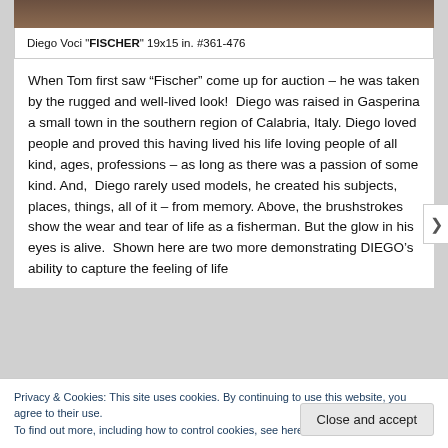[Figure (photo): Partial view of Diego Voci painting 'Fischer' showing top portion]
Diego Voci "FISCHER" 19x15 in.  #361-476
When Tom first saw “Fischer” come up for auction – he was taken by the rugged and well-lived look!  Diego was raised in Gasperina a small town in the southern region of Calabria, Italy. Diego loved people and proved this having lived his life loving people of all kind, ages, professions – as long as there was a passion of some kind. And,  Diego rarely used models, he created his subjects, places, things, all of it – from memory. Above, the brushstrokes show the wear and tear of life as a fisherman. But the glow in his eyes is alive.  Shown here are two more demonstrating DIEGO’s ability to capture the feeling of life
Privacy & Cookies: This site uses cookies. By continuing to use this website, you agree to their use.
To find out more, including how to control cookies, see here: Cookie Policy
Close and accept